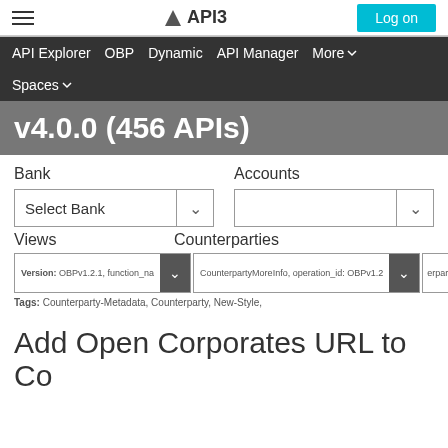API3 — Log on
API Explorer  OBP  Dynamic  API Manager  More ∨  Spaces ∨
v4.0.0 (456 APIs)
Bank
Accounts
Select Bank
Views
Counterparties
Version: OBPv1.2.1, function_na  CounterpartyMoreInfo, operation_id: OBPv1.2  erpartyMoreInfo
Tags: Counterparty-Metadata, Counterparty, New-Style,
Add Open Corporates URL to Co